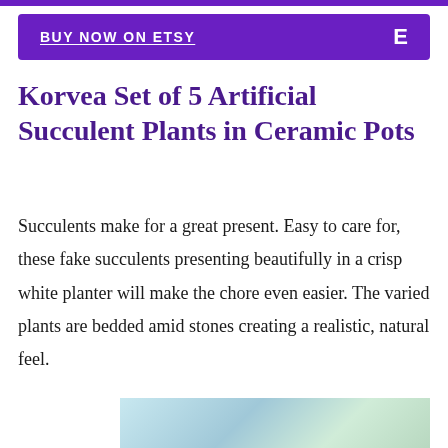BUY NOW ON ETSY   E
Korvea Set of 5 Artificial Succulent Plants in Ceramic Pots
Succulents make for a great present. Easy to care for, these fake succulents presenting beautifully in a crisp white planter will make the chore even easier. The varied plants are bedded amid stones creating a realistic, natural feel.
[Figure (photo): Partial photo of succulent plants in ceramic pots, cropped at bottom of page]